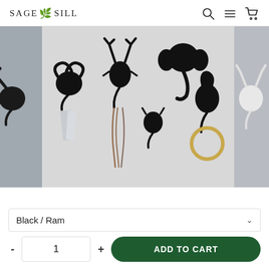SAGE SILL
[Figure (photo): Product photo showing multiple black animal head wall hooks (ram, deer, elephant, horse, giraffe) mounted on a white wall with jewelry and accessories hanging from them. Partially visible white animal hooks on the right edge.]
Black / Ram
1
ADD TO CART